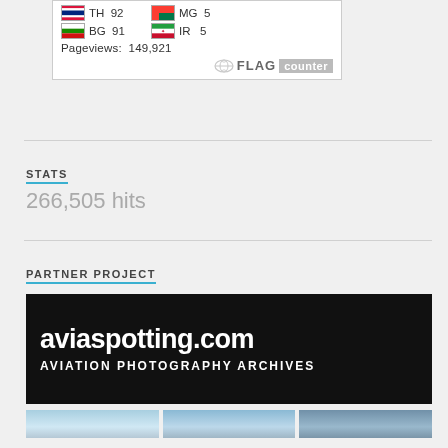[Figure (other): Flag counter widget showing TH 92, MG 5, BG 91, IR 5 country flags with pageviews 149,921 and FLAG counter brand logo]
STATS
266,505 hits
PARTNER PROJECT
[Figure (illustration): aviaspotting.com Aviation Photography Archives banner with white text on black background]
[Figure (photo): Three small aviation photo thumbnails at the bottom of the page]